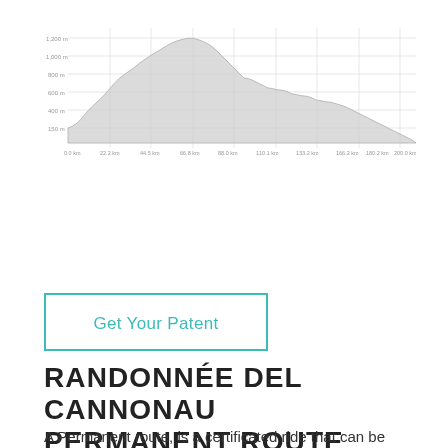[Figure (continuous-plot): Elevation profile chart for the Randonnée Del Cannonau route. X-axis shows distance in km (from ~0 km to ~200 km), y-axis shows elevation in meters (from ~150m to ~1,200m). The profile shows a large mountainous section in the middle with peaks around 800-1000m, and lower terrain toward the end.]
Get Your Patent
RANDONNÉE DEL CANNONAU PERMANENT ROUTE
A Permanent route, is a certificated ride that can be